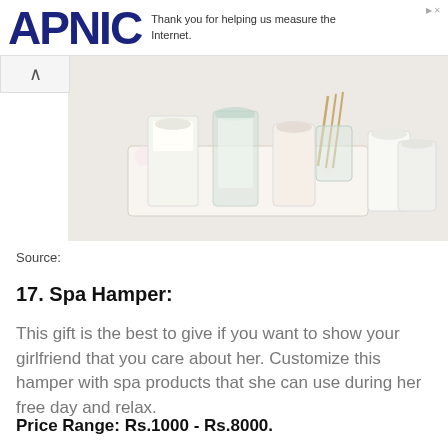APNIC — Thank you for helping us measure the Internet.
[Figure (photo): A spa candle gift hamper with multiple white glass candles and reed diffuser sticks arranged on a floral-patterned tray.]
Source:
17. Spa Hamper:
This gift is the best to give if you want to show your girlfriend that you care about her. Customize this hamper with spa products that she can use during her free day and relax.
Price Range: Rs.1000 - Rs.8000.